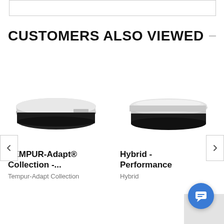[Figure (other): Top partial box/image placeholder at top of page]
CUSTOMERS ALSO VIEWED
[Figure (photo): TEMPUR-Adapt mattress product photo - gray and black mattress on white background]
TEMPUR-Adapt® Collection -...
Tempur-Adapt Collection
[Figure (photo): Hybrid Performance mattress product photo - gray and black mattress on white background]
Hybrid - Performance
Hybrid